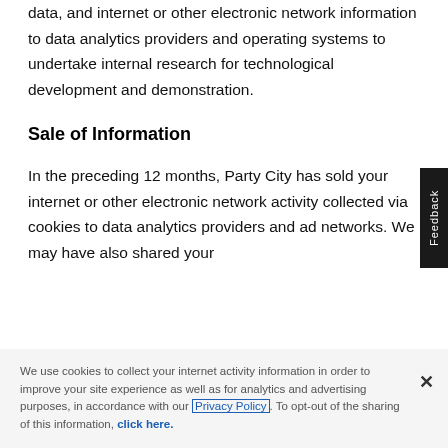data, and internet or other electronic network information to data analytics providers and operating systems to undertake internal research for technological development and demonstration.
Sale of Information
In the preceding 12 months, Party City has sold your internet or other electronic network activity collected via cookies to data analytics providers and ad networks. We may have also shared your
We use cookies to collect your internet activity information in order to improve your site experience as well as for analytics and advertising purposes, in accordance with our Privacy Policy. To opt-out of the sharing of this information, click here.